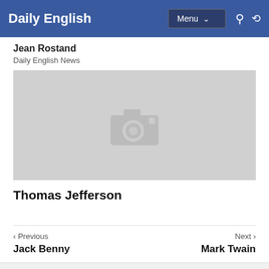Daily English | Menu | Navigation
Jean Rostand
Daily English News
[Figure (photo): Placeholder image with camera icon on gray background]
Thomas Jefferson
< Previous  Jack Benny
Next >  Mark Twain